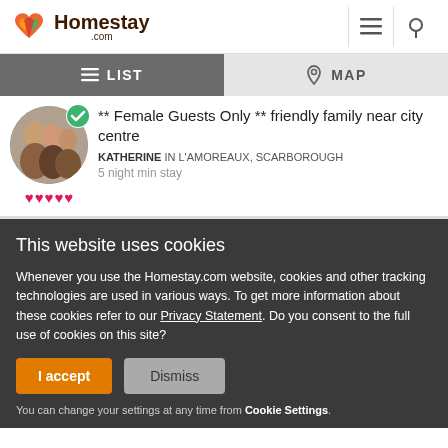[Figure (logo): Homestay.com logo with colorful heart icon and brand name]
≡ LIST   MAP
** Female Guests Only ** friendly family near city centre
KATHERINE IN L'AMOREAUX, SCARBOROUGH
5 night min stay
This website uses cookies
Whenever you use the Homestay.com website, cookies and other tracking technologies are used in various ways. To get more information about these cookies refer to our Privacy Statement. Do you consent to the full use of cookies on this site?
I accept   Dismiss
You can change your settings at any time from Cookie Settings.